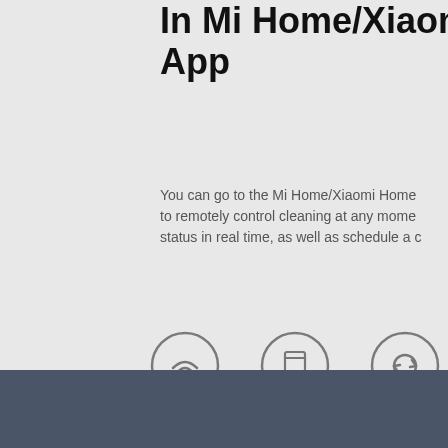In Mi Home/Xiaomi App
You can go to the Mi Home/Xiaomi Home to remotely control cleaning at any moment, status in real time, as well as schedule a c
[Figure (infographic): Three circular icons with labels: Remote Control (wifi symbol), Cleaning Status Check (smartphone/tablet symbol), Mode Switch (refresh/cycle arrow symbol)]